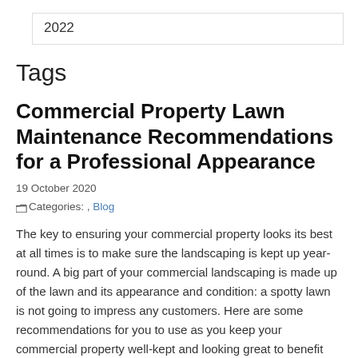2022
Tags
Commercial Property Lawn Maintenance Recommendations for a Professional Appearance
19 October 2020
Categories: , Blog
The key to ensuring your commercial property looks its best at all times is to make sure the landscaping is kept up year-round. A big part of your commercial landscaping is made up of the lawn and its appearance and condition: a spotty lawn is not going to impress any customers. Here are some recommendations for you to use as you keep your commercial property well-kept and looking great to benefit your business. Read More →